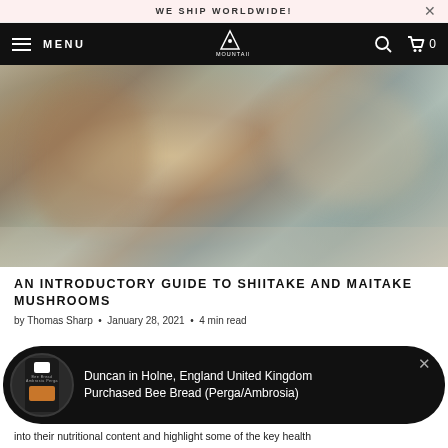WE SHIP WORLDWIDE!
[Figure (screenshot): Website navigation bar with hamburger menu, MENU text, MountainLife logo, search icon, and cart icon showing 0 items]
[Figure (photo): Blurred hero image of shiitake and maitake mushrooms in natural setting]
AN INTRODUCTORY GUIDE TO SHIITAKE AND MAITAKE MUSHROOMS
by Thomas Sharp • January 28, 2021 • 4 min read
[Figure (infographic): Popup notification showing a product image of Bee Bread package with text: Duncan in Holne, England United Kingdom Purchased Bee Bread (Perga/Ambrosia)]
into their nutritional content and highlight some of the key health